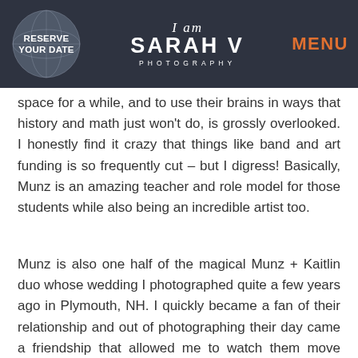RESERVE YOUR DATE | I am SARAH V PHOTOGRAPHY | MENU
space for a while, and to use their brains in ways that history and math just won't do, is grossly overlooked. I honestly find it crazy that things like band and art funding is so frequently cut – but I digress! Basically, Munz is an amazing teacher and role model for those students while also being an incredible artist too.
Munz is also one half of the magical Munz + Kaitlin duo whose wedding I photographed quite a few years ago in Plymouth, NH. I quickly became a fan of their relationship and out of photographing their day came a friendship that allowed me to watch them move through the years side by side with an incredible abundance of love always present.